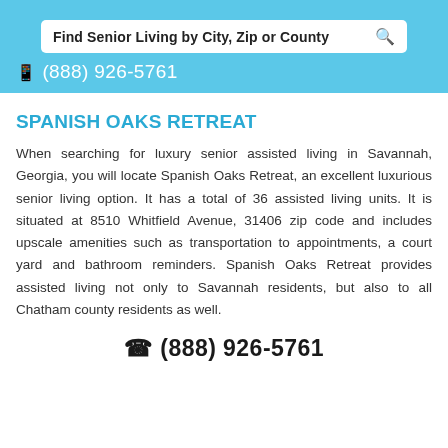Find Senior Living by City, Zip or County
(888) 926-5761
SPANISH OAKS RETREAT
When searching for luxury senior assisted living in Savannah, Georgia, you will locate Spanish Oaks Retreat, an excellent luxurious senior living option. It has a total of 36 assisted living units. It is situated at 8510 Whitfield Avenue, 31406 zip code and includes upscale amenities such as transportation to appointments, a court yard and bathroom reminders. Spanish Oaks Retreat provides assisted living not only to Savannah residents, but also to all Chatham county residents as well.
(888) 926-5761